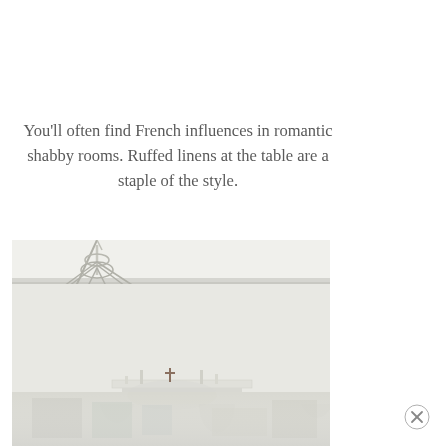You'll often find French influences in romantic shabby rooms. Ruffed linens at the table are a staple of the style.
[Figure (photo): Interior room photo showing a white chandelier with candle-style lights hanging from the ceiling against a white damask-patterned wallpapered wall. Below is a white mantel or sideboard with a small cross ornament. The lower portion shows a faded/washed-out reflection or continuation of the room with additional objects.]